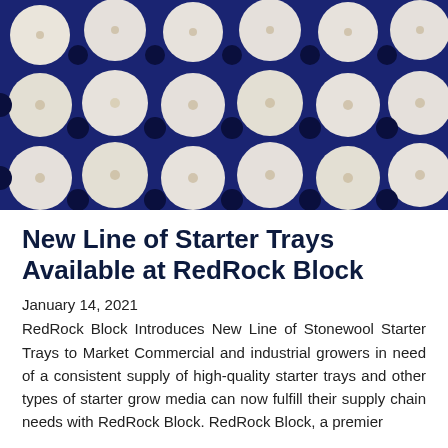[Figure (photo): Overhead view of blue plastic starter tray filled with white circular stonewool starter plugs arranged in a grid pattern]
New Line of Starter Trays Available at RedRock Block
January 14, 2021
RedRock Block Introduces New Line of Stonewool Starter Trays to Market Commercial and industrial growers in need of a consistent supply of high-quality starter trays and other types of starter grow media can now fulfill their supply chain needs with RedRock Block. RedRock Block, a premier